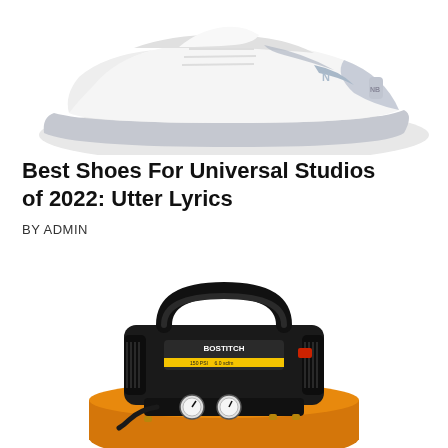[Figure (photo): White New Balance athletic/walking shoe photographed from the side, partially cropped at top, showing the upper portion of the shoe with gray accents and NB logo]
Best Shoes For Universal Studios of 2022: Utter Lyrics
BY ADMIN
[Figure (photo): BOSTITCH portable air compressor with black motor housing, yellow tank, pressure gauges, hose connections, and red power switch — shown from front, cropped at bottom]